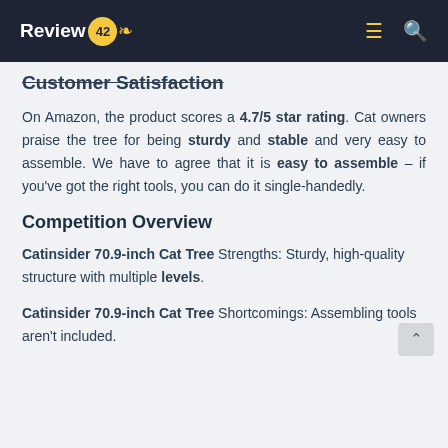Review 42 [logo/navigation bar]
Customer Satisfaction
On Amazon, the product scores a 4.7/5 star rating. Cat owners praise the tree for being sturdy and stable and very easy to assemble. We have to agree that it is easy to assemble – if you've got the right tools, you can do it single-handedly.
Competition Overview
Catinsider 70.9-inch Cat Tree Strengths: Sturdy, high-quality structure with multiple levels.
Catinsider 70.9-inch Cat Tree Shortcomings: Assembling tools aren't included.